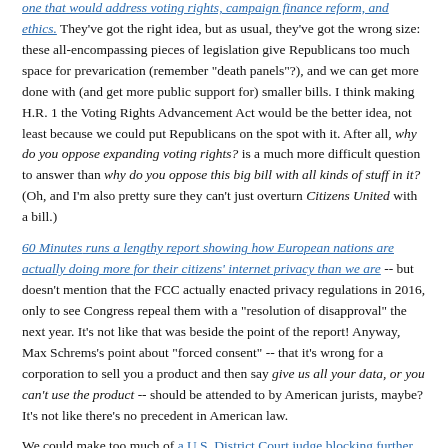one that would address voting rights, campaign finance reform, and ethics. They've got the right idea, but as usual, they've got the wrong size: these all-encompassing pieces of legislation give Republicans too much space for prevarication (remember "death panels"?), and we can get more done with (and get more public support for) smaller bills. I think making H.R. 1 the Voting Rights Advancement Act would be the better idea, not least because we could put Republicans on the spot with it. After all, why do you oppose expanding voting rights? is a much more difficult question to answer than why do you oppose this big bill with all kinds of stuff in it? (Oh, and I'm also pretty sure they can't just overturn Citizens United with a bill.)
60 Minutes runs a lengthy report showing how European nations are actually doing more for their citizens' internet privacy than we are -- but doesn't mention that the FCC actually enacted privacy regulations in 2016, only to see Congress repeal them with a "resolution of disapproval" the next year. It's not like that was beside the point of the report! Anyway, Max Schrems's point about "forced consent" -- that it's wrong for a corporation to sell you a product and then say give us all your data, or you can't use the product -- should be attended to by American jurists, maybe? It's not like there's no precedent in American law.
We could make too much of a U.S. District Court judge blocking further construction on the Keystone XL pipeline until our Administration does the proper reviews (and not just environmentally-related ones) as required by law, since our Administration could just show its work and OK I couldn't get through that sentence without admitting it was already a big deal. About as if...